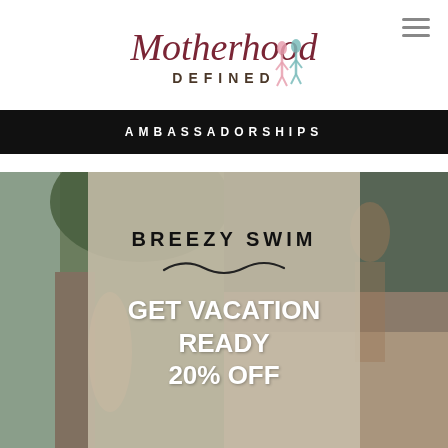[Figure (logo): Motherhood Defined logo — stylized cursive and serif text with illustrated figures in pink and teal]
AMBASSADORSHIPS
[Figure (photo): Two women in swimwear in a tropical outdoor setting with waterfall and rocks on the left, and a beach/coastal setting on the right. Center overlay shows Breezy Swim branding with 'GET VACATION READY 20% OFF' promotional text.]
BREEZY SWIM
GET VACATION READY 20% OFF